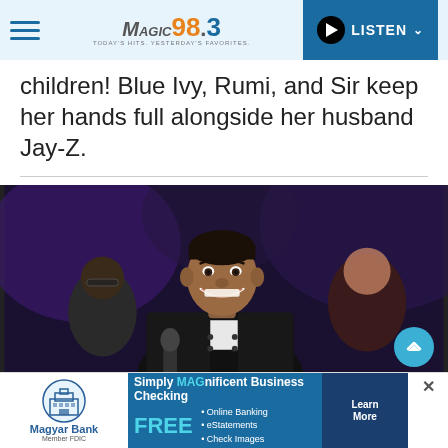MAGIC 98.3 — TODAY'S HITS. YESTERDAY'S FAVORITES. | LISTEN
children! Blue Ivy, Rumi, and Sir keep her hands full alongside her husband Jay-Z.
[Figure (photo): A smiling young man in a black jacket holding a microphone at what appears to be an event, with blurred audience members in the background.]
Simply MAGnificent Business Checking FREE • Online Banking • eStatements • Check Images Learn More